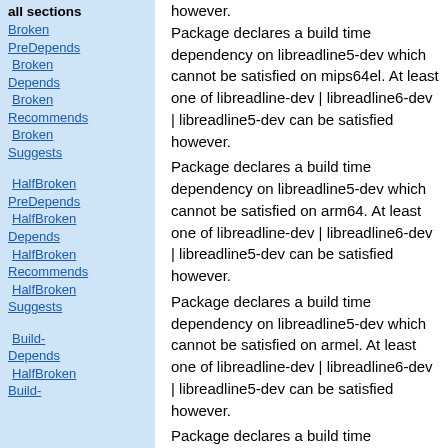all sections
Broken PreDepends
Broken Depends
Broken Recommends
Broken Suggests
HalfBroken PreDepends
HalfBroken Depends
HalfBroken Recommends
HalfBroken Suggests
Build-Depends HalfBroken Build-
however. Package declares a build time dependency on libreadline5-dev which cannot be satisfied on mips64el. At least one of libreadline-dev | libreadline6-dev | libreadline5-dev can be satisfied however.
Package declares a build time dependency on libreadline5-dev which cannot be satisfied on arm64. At least one of libreadline-dev | libreadline6-dev | libreadline5-dev can be satisfied however.
Package declares a build time dependency on libreadline5-dev which cannot be satisfied on armel. At least one of libreadline-dev | libreadline6-dev | libreadline5-dev can be satisfied however.
Package declares a build time dependency on libreadline5-dev